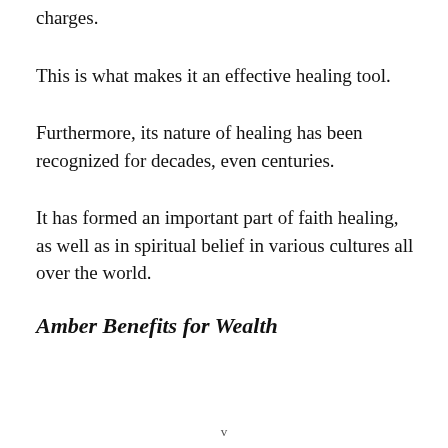charges.
This is what makes it an effective healing tool.
Furthermore, its nature of healing has been recognized for decades, even centuries.
It has formed an important part of faith healing, as well as in spiritual belief in various cultures all over the world.
Amber Benefits for Wealth
v